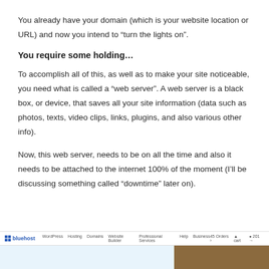You already have your domain (which is your website location or URL) and now you intend to “turn the lights on”.
You require some holding…
To accomplish all of this, as well as to make your site noticeable, you need what is called a “web server”. A web server is a black box, or device, that saves all your site information (data such as photos, texts, video clips, links, plugins, and also various other info).
Now, this web server, needs to be on all the time and also it needs to be attached to the internet 100% of the moment (I’ll be discussing something called “downtime” later on).
[Figure (screenshot): Screenshot of the Bluehost website showing a navigation bar with the Bluehost logo and navigation links, with a partial view of the homepage below in blue and brown sections.]